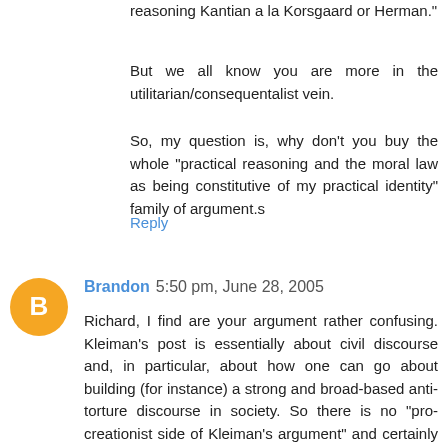reasoning Kantian a la Korsgaard or Herman."
But we all know you are more in the utilitarian/consequentalist vein.
So, my question is, why don't you buy the whole "practical reasoning and the moral law as being constitutive of my practical identity" family of argument.s
Reply
Brandon  5:50 pm, June 28, 2005
Richard, I find are your argument rather confusing. Kleiman's post is essentially about civil discourse and, in particular, about how one can go about building (for instance) a strong and broad-based anti-torture discourse in society. So there is no "pro-creationist side of Kleiman's argument" and certainly no "anti-evolution side of Kleiman's argument" -- just a reflection about how one can work with such people for the common good, and that requires looking at what might be done toward a common ground. The comment that...